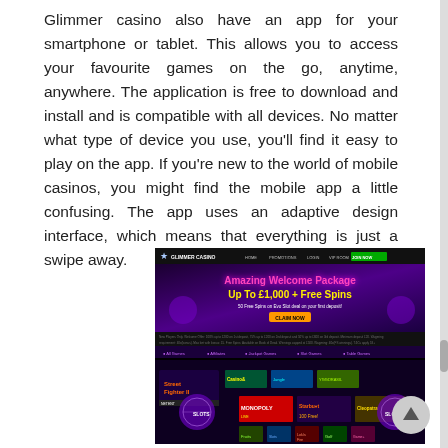Glimmer casino also have an app for your smartphone or tablet. This allows you to access your favourite games on the go, anytime, anywhere. The application is free to download and install and is compatible with all devices. No matter what type of device you use, you'll find it easy to play on the app. If you're new to the world of mobile casinos, you might find the mobile app a little confusing. The app uses an adaptive design interface, which means that everything is just a swipe away.
[Figure (screenshot): Screenshot of the Glimmer Casino website showing the homepage with a dark purple/black background, navigation bar at top, an 'Amazing Welcome Package Up To £1,000 + Free Spins' promotion banner with 50 Free Spins offer, game categories bar, and a grid of casino game thumbnails including Street Fighter, Monopoly, and other slot games.]